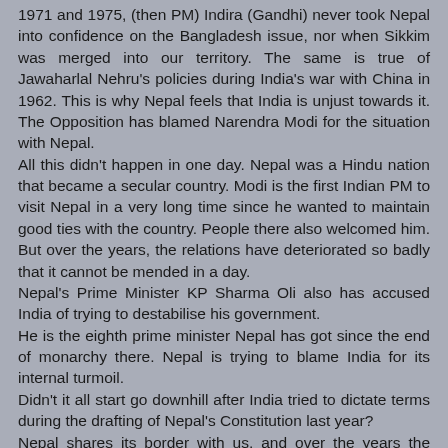1971 and 1975, (then PM) Indira (Gandhi) never took Nepal into confidence on the Bangladesh issue, nor when Sikkim was merged into our territory. The same is true of Jawaharlal Nehru's policies during India's war with China in 1962. This is why Nepal feels that India is unjust towards it. The Opposition has blamed Narendra Modi for the situation with Nepal. All this didn't happen in one day. Nepal was a Hindu nation that became a secular country. Modi is the first Indian PM to visit Nepal in a very long time since he wanted to maintain good ties with the country. People there also welcomed him. But over the years, the relations have deteriorated so badly that it cannot be mended in a day. Nepal's Prime Minister KP Sharma Oli also has accused India of trying to destabilise his government. He is the eighth prime minister Nepal has got since the end of monarchy there. Nepal is trying to blame India for its internal turmoil. Didn't it all start go downhill after India tried to dictate terms during the drafting of Nepal's Constitution last year? Nepal shares its border with us, and over the years the country has been responsible for fuelling agitation among its Madheshi population there. It is a matter of concern for